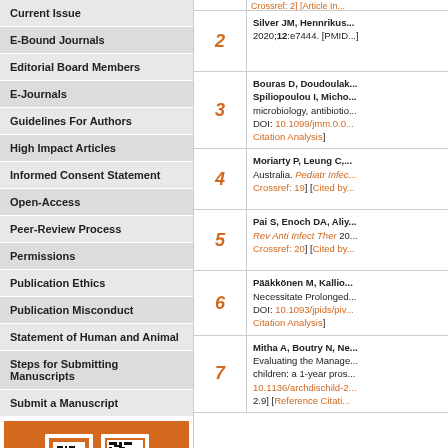Current Issue
E-Bound Journals
Editorial Board Members
E-Journals
Guidelines For Authors
High Impact Articles
Informed Consent Statement
Open-Access
Peer-Review Process
Permissions
Publication Ethics
Publication Misconduct
Statement of Human and Animal
Steps for Submitting Manuscripts
Submit a Manuscript
[Figure (other): QR code on orange background]
| # | Reference |
| --- | --- |
| 2 | Silver JM, Hennrikus... 2020;12:e7444. [PMID...] |
| 3 | Bouras D, Doudoulak... Spiliopoulou I, Micho... microbiology, antibiotio... DOI: 10.1099/jmm.0.0... Citation Analysis] |
| 4 | Moriarty P, Leung C,... Australia. Pediatr Infec... Crossref: 19] [Cited by... |
| 5 | Pai S, Enoch DA, Aliy... Rev Anti Infect Ther 20... Crossref: 20] [Cited by... |
| 6 | Pääkkönen M, Kallio... Necessitate Prolonged... DOI: 10.1093/jpids/piv... Citation Analysis] |
| 7 | Mitha A, Boutry N, Ne... Evaluating the Manage... children: a 1-year pros... 10.1136/archdischild-2... 2.9] [Reference Citati...] |